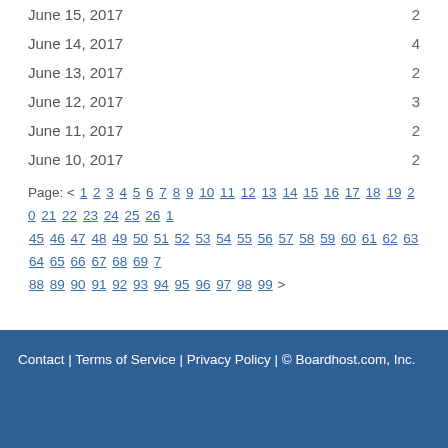June 15, 2017  2
June 14, 2017  4
June 13, 2017  2
June 12, 2017  3
June 11, 2017  2
June 10, 2017  2
Page: < 1 2 3 4 5 6 7 8 9 10 11 12 13 14 15 16 17 18 19 20 21 22 23 24 25 26 ... 45 46 47 48 49 50 51 52 53 54 55 56 57 58 59 60 61 62 63 64 65 66 67 68 69 7... 88 89 90 91 92 93 94 95 96 97 98 99 >
Contact | Terms of Service | Privacy Policy | © Boardhost.com, Inc.   Th...